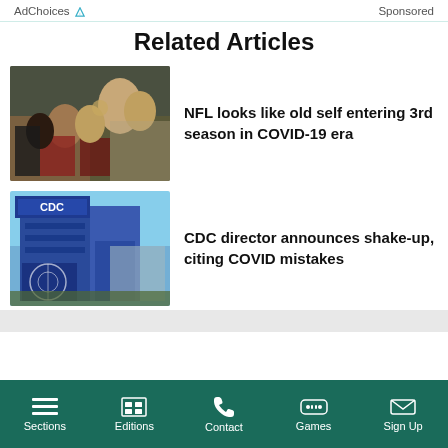AdChoices  Sponsored
Related Articles
[Figure (photo): NFL crowd scene with players signing autographs for fans]
NFL looks like old self entering 3rd season in COVID-19 era
[Figure (photo): CDC headquarters building sign]
CDC director announces shake-up, citing COVID mistakes
Sections  Editions  Contact  Games  Sign Up